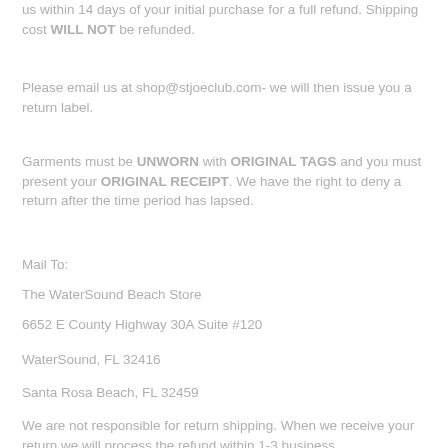us within 14 days of your initial purchase for a full refund. Shipping cost WILL NOT be refunded.
Please email us at shop@stjoeclub.com- we will then issue you a return label.
Garments must be UNWORN with ORIGINAL TAGS and you must present your ORIGINAL RECEIPT. We have the right to deny a return after the time period has lapsed.
Mail To:
The WaterSound Beach Store
6652 E County Highway 30A Suite #120
WaterSound, FL 32416
Santa Rosa Beach, FL 32459
We are not responsible for return shipping. When we receive your return we will process the refund within 1-3 business